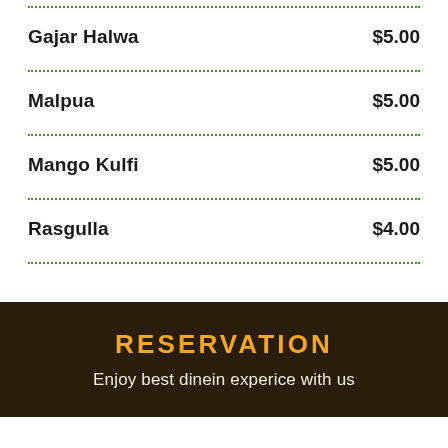Gajar Halwa  $5.00
Malpua  $5.00
Mango Kulfi  $5.00
Rasgulla  $4.00
RESERVATION
Enjoy best dinein experice with us